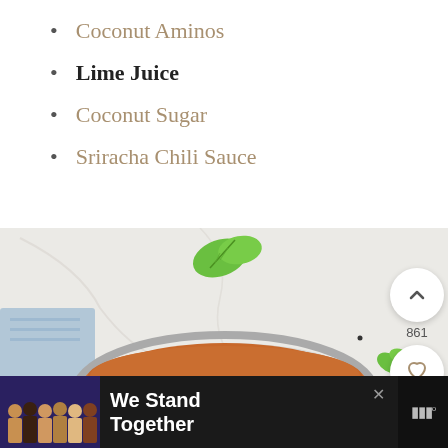Coconut Aminos
Lime Juice
Coconut Sugar
Sriracha Chili Sauce
[Figure (photo): Overhead view of an orange/tan soup or sauce in a glass jar on a light marble surface, with fresh mint leaves scattered around, and blue cloth visible]
861
We Stand Together